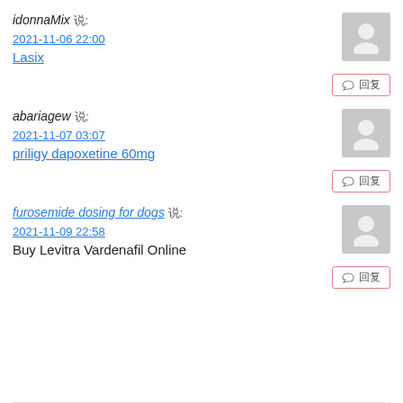idonnaMix 说:
2021-11-06 22:00
Lasix
○ 回复
abariagew 说:
2021-11-07 03:07
priligy dapoxetine 60mg
○ 回复
furosemide dosing for dogs 说:
2021-11-09 22:58
Buy Levitra Vardenafil Online